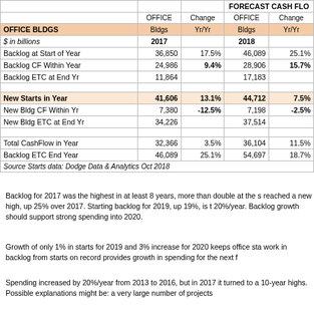|  | OFFICE Bldgs 2017 | Change Yr/Yr | OFFICE Bldgs 2018 | Change Yr/Yr |
| --- | --- | --- | --- | --- |
| Backlog at Start of Year | 36,850 | 17.5% | 46,089 | 25.1% |
| Backlog CF Within Year | 24,986 | 9.4% | 28,906 | 15.7% |
| Backlog ETC at End Yr | 11,864 |  | 17,183 |  |
|  |  |  |  |  |
| New Starts in Year | 41,606 | 13.1% | 44,712 | 7.5% |
| New Bldg CF Within Yr | 7,380 | -12.5% | 7,198 | -2.5% |
| New Bldg ETC at End Yr | 34,226 |  | 37,514 |  |
|  |  |  |  |  |
| Total CashFlow in Year | 32,366 | 3.5% | 36,104 | 11.5% |
| Backlog ETC End Year | 46,089 | 25.1% | 54,697 | 18.7% |
| Source Starts data: Dodge Data & Analytics Oct 2018 |  |  |  |  |
Backlog for 2017 was the highest in at least 8 years, more than double at the s reached a new high, up 25% over 2017. Starting backlog for 2019, up 19%, is t 20%/year. Backlog growth should support strong spending into 2020.
Growth of only 1% in starts for 2019 and 3% increase for 2020 keeps office sta work in backlog from starts on record provides growth in spending for the next f
Spending increased by 20%/year from 2013 to 2016, but in 2017 it turned to a 10-year highs. Possible explanations might be: a very large number of projects